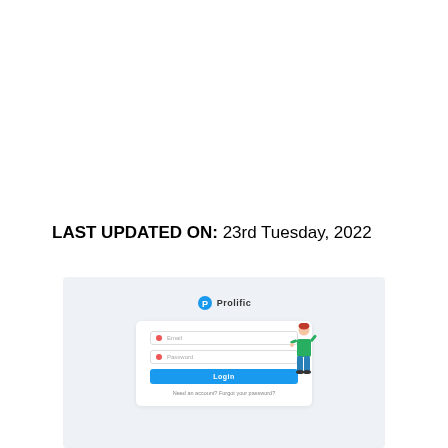LAST UPDATED ON: 23rd Tuesday, 2022
[Figure (screenshot): Screenshot of the Prolific login page showing the Prolific logo, an email input field, a password input field, a blue Login button, and a 'Need an account? Forgot your password?' link, with an illustrated figure of a person standing to the right of the form, all on a light blue-grey background.]